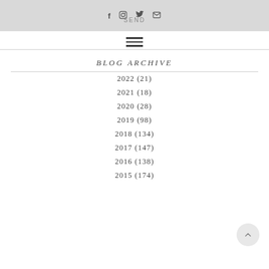f  [instagram]  [twitter]  [mail]  SEND
[Figure (other): Hamburger menu icon (three horizontal lines)]
BLOG ARCHIVE
2022 (21)
2021 (18)
2020 (28)
2019 (98)
2018 (134)
2017 (147)
2016 (138)
2015 (174)